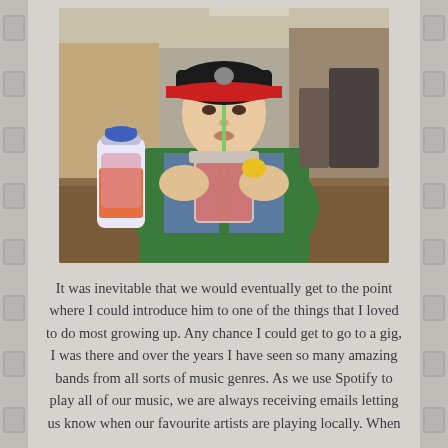[Figure (photo): A young boy wearing a black cap with red brim and a green hoodie with denim vest, sitting at a wooden table in a cafe, drinking from a cup with a straw. A bottle of juice/smoothie sits on the table beside him.]
It was inevitable that we would eventually get to the point where I could introduce him to one of the things that I loved to do most growing up. Any chance I could get to go to a gig, I was there and over the years I have seen so many amazing bands from all sorts of music genres. As we use Spotify to play all of our music, we are always receiving emails letting us know when our favourite artists are playing locally. When